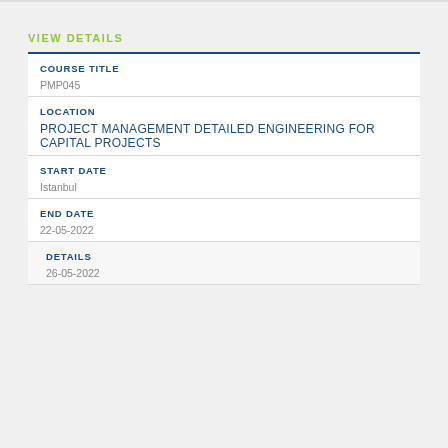VIEW DETAILS
| COURSE TITLE | LOCATION | START DATE | END DATE | DETAILS |
| --- | --- | --- | --- | --- |
| PMP045 |
| PROJECT MANAGEMENT DETAILED ENGINEERING FOR CAPITAL PROJECTS |
| Istanbul |
| 22-05-2022 |
| 26-05-2022 |